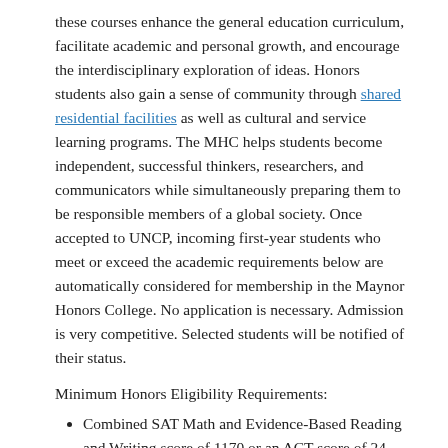these courses enhance the general education curriculum, facilitate academic and personal growth, and encourage the interdisciplinary exploration of ideas. Honors students also gain a sense of community through shared residential facilities as well as cultural and service learning programs. The MHC helps students become independent, successful thinkers, researchers, and communicators while simultaneously preparing them to be responsible members of a global society. Once accepted to UNCP, incoming first-year students who meet or exceed the academic requirements below are automatically considered for membership in the Maynor Honors College. No application is necessary. Admission is very competitive. Selected students will be notified of their status.
Minimum Honors Eligibility Requirements:
Combined SAT Math and Evidence-Based Reading and Writing score of 1170 or an ACT score of 24.
A weighted high school GPA of 3.5.